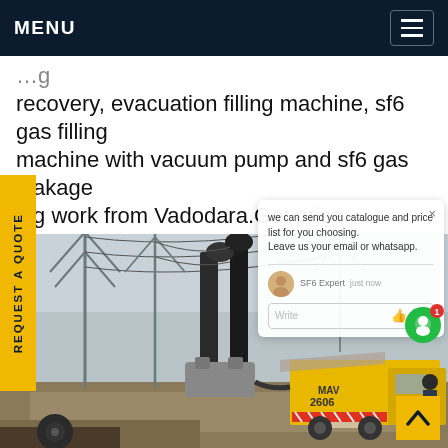MENU
recovery, evacuation filling machine, sf6 gas filling machine with vacuum pump and sf6 gas leakage ing work from Vadodara.Get price
[Figure (photo): Photograph of an electrical substation with high-voltage transmission towers and equipment. A yellow service truck labeled MAV 2606 with chevron markings is parked beside large SF6 gas handling equipment. A worker in safety gear stands nearby. Power lines and transmission towers visible in the background.]
REQUEST A QUOTE
we can send you catalogue and price list for you choosing. Leave us your email or whatsapp.
SF6 Expert  just now
Write